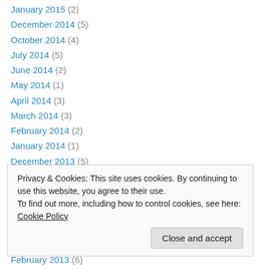January 2015 (2)
December 2014 (5)
October 2014 (4)
July 2014 (5)
June 2014 (2)
May 2014 (1)
April 2014 (3)
March 2014 (3)
February 2014 (2)
January 2014 (1)
December 2013 (5)
October 2013 (3)
September 2013 (6)
Privacy & Cookies: This site uses cookies. By continuing to use this website, you agree to their use. To find out more, including how to control cookies, see here: Cookie Policy
February 2013 (6)